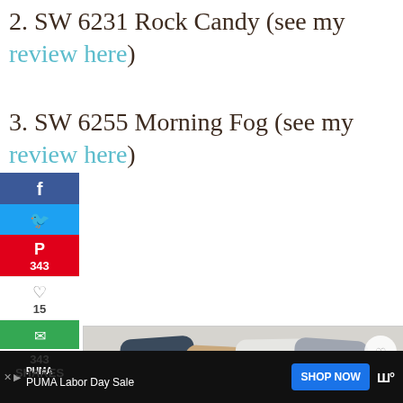2. SW 6231 Rock Candy (see my review here)
3. SW 6255 Morning Fog (see my review here)
[Figure (photo): Paint chip swatches showing navy/charcoal blue, tan/beige, white, and gray colors fanned out, with Knock Off Decor logo, heart button showing 358 saves, share button, and a What's Next overlay showing Best Warm Blue Paint...]
Charcoal Blue Coordinating Colo...
SW 2739 Charcoal Blue
PUMA | PUMA Labor Day Sale | SHOP NOW